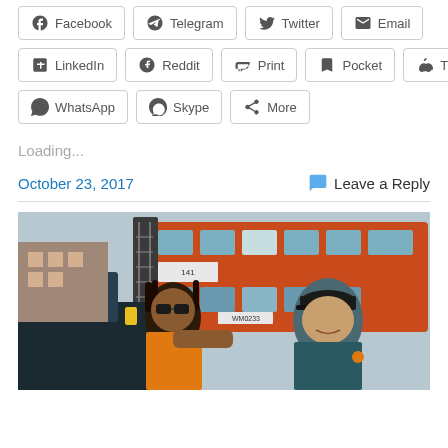Facebook
Telegram
Twitter
Email
LinkedIn
Reddit
Print
Pocket
Tumblr
WhatsApp
Skype
More
Loading...
October 23, 2017
Leave a Reply
[Figure (photo): Two men near a red/orange double-decker bus; one wearing sunglasses and an orange shirt, one wearing a dark cap and teal shirt, viewed from low angle through a car window]